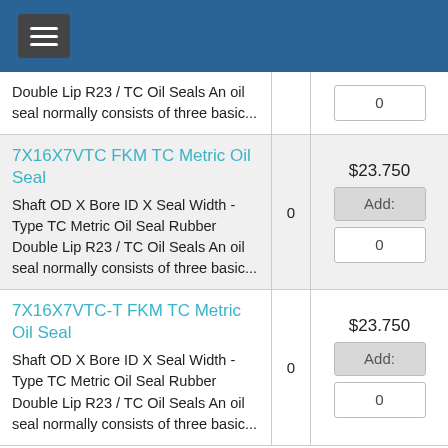Navigation header with hamburger menu
Double Lip R23 / TC Oil Seals An oil seal normally consists of three basic...
7X16X7VTC FKM TC Metric Oil Seal
Shaft OD X Bore ID X Seal Width - Type TC Metric Oil Seal Rubber Double Lip R23 / TC Oil Seals An oil seal normally consists of three basic...
7X16X7VTC-T FKM TC Metric Oil Seal
Shaft OD X Bore ID X Seal Width - Type TC Metric Oil Seal Rubber Double Lip R23 / TC Oil Seals An oil seal normally consists of three basic...